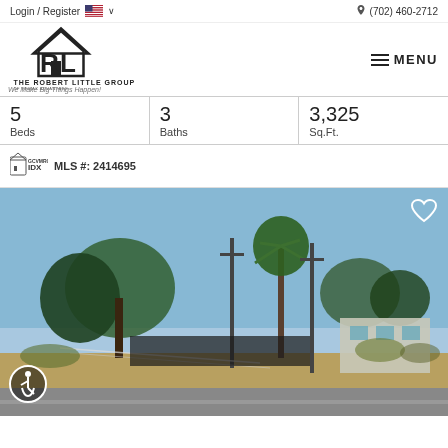Login / Register  🇺🇸 ∨   (702) 460-2712
[Figure (logo): The Robert Little Group of Remax Advantage logo with house icon and RL letters. We Make Big Things Happen!]
| Beds | Baths | Sq.Ft. |
| --- | --- | --- |
| 5 | 3 | 3,325 |
MLS #: 2414695
[Figure (photo): Exterior street-level photo of a vacant lot with palm trees, utility poles, dry grass, and a house visible in the background under a blue sky.]